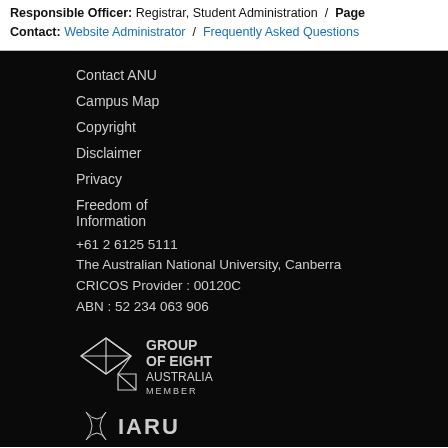Responsible Officer: Registrar, Student Administration / Page Contact: Website Administrator / Frequently Asked Questions
Contact ANU
Campus Map
Copyright
Disclaimer
Privacy
Freedom of Information
+61 2 6125 5111
The Australian National University, Canberra
CRICOS Provider : 00120C
ABN : 52 234 063 906
[Figure (logo): Group of Eight Australia Member logo]
[Figure (logo): IARU logo]
[Figure (logo): APRU logo (partially visible)]